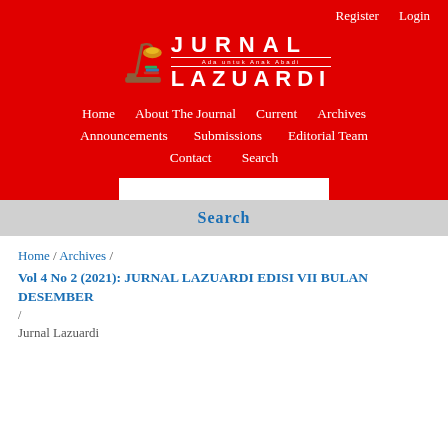Register   Login
[Figure (logo): Jurnal Lazuardi logo with lamp illustration and text 'JURNAL LAZUARDI' on red background]
Home   About The Journal   Current   Archives   Announcements   Submissions   Editorial Team   Contact   Search
Search
Home / Archives / Vol 4 No 2 (2021): JURNAL LAZUARDI EDISI VII BULAN DESEMBER / Jurnal Lazuardi